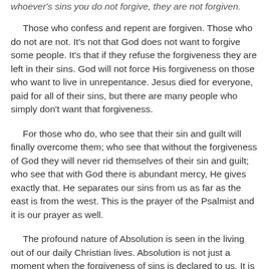whoever's sins you do not forgive, they are not forgiven.
Those who confess and repent are forgiven. Those who do not are not. It's not that God does not want to forgive some people. It's that if they refuse the forgiveness they are left in their sins. God will not force His forgiveness on those who want to live in unrepentance. Jesus died for everyone, paid for all of their sins, but there are many people who simply don't want that forgiveness.
For those who do, who see that their sin and guilt will finally overcome them; who see that without the forgiveness of God they will never rid themselves of their sin and guilt; who see that with God there is abundant mercy, He gives exactly that. He separates our sins from us as far as the east is from the west. This is the prayer of the Psalmist and it is our prayer as well.
The profound nature of Absolution is seen in the living out of our daily Christian lives. Absolution is not just a moment when the forgiveness of sins is declared to us. It is the natural living out of Baptism. In Baptism you were forgiven of all of your sins. You were Baptized once, but you still live in